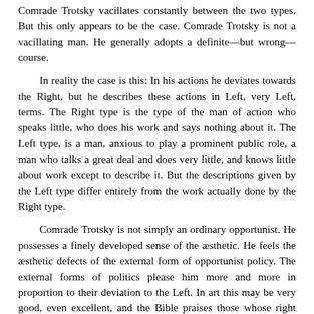Comrade Trotsky vacillates constantly between the two types. But this only appears to be the case. Comrade Trotsky is not a vacillating man. He generally adopts a definite—but wrong—course.

In reality the case is this: In his actions he deviates towards the Right, but he describes these actions in Left, very Left, terms. The Right type is the type of the man of action who speaks little, who does his work and says nothing about it. The Left type, is a man, anxious to play a prominent public role, a man who talks a great deal and does very little, and knows little about work except to describe it. But the descriptions given by the Left type differ entirely from the work actually done by the Right type.

Comrade Trotsky is not simply an ordinary opportunist. He possesses a finely developed sense of the æsthetic. He feels the æsthetic defects of the external form of opportunist policy. The external forms of politics please him more and more in proportion to their deviation to the Left. In art this may be very good, even excellent, and the Bible praises those whose right hand knoweth not what their left hand doeth; but in politics every inconsistency between form and contents, between description and actuality, between theory and practice, is invariably detrimental.

This is most clearly evidenced by the question of the German